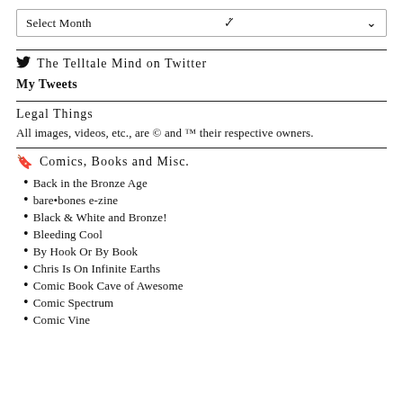Select Month
The Telltale Mind on Twitter
My Tweets
Legal Things
All images, videos, etc., are © and ™ their respective owners.
Comics, Books and Misc.
Back in the Bronze Age
bare•bones e-zine
Black & White and Bronze!
Bleeding Cool
By Hook Or By Book
Chris Is On Infinite Earths
Comic Book Cave of Awesome
Comic Spectrum
Comic Vine